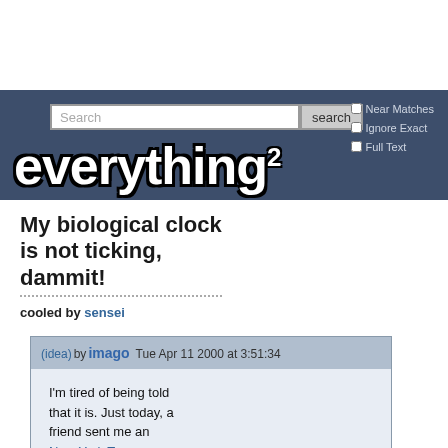[Figure (screenshot): Everything2 website header with search bar, checkboxes for Near Matches, Ignore Exact, Full Text, and the Everything2 logo in white bold text on dark blue background]
My biological clock is not ticking, dammit!
cooled by sensei
(idea) by imago Tue Apr 11 2000 at 3:51:34
I'm tired of being told that it is. Just today, a friend sent me an New York T...